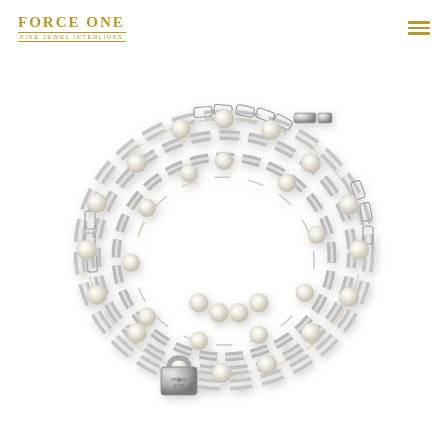FORCE ONE — FINE JEWEL INTERLINKS
[Figure (photo): A Tiffany & Co. silver chain-link and freshwater pearl wrap bracelet with a padlock charm pendant, coiled in multiple loops on a white background.]